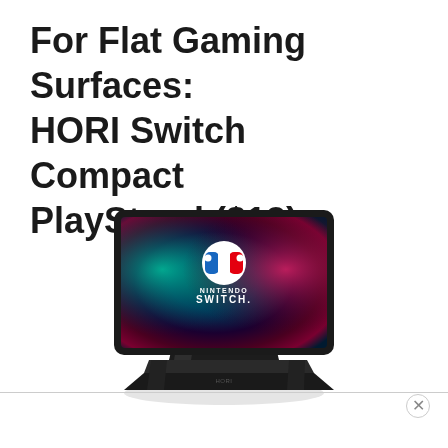For Flat Gaming Surfaces: HORI Switch Compact PlayStand ($13)
[Figure (photo): HORI Nintendo Switch Compact PlayStand in black, shown holding a Nintendo Switch console at an angle on a flat surface. The stand is foldable and compact.]